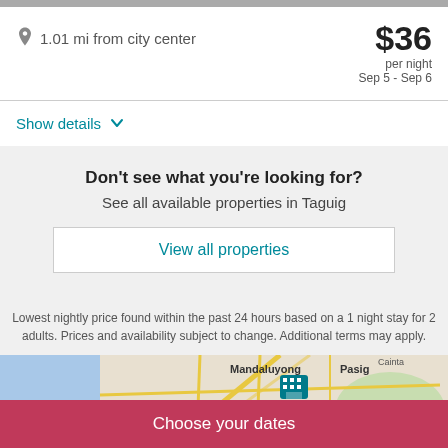1.01 mi from city center
$36 per night Sep 5 - Sep 6
Show details
Don't see what you're looking for?
See all available properties in Taguig
View all properties
Lowest nightly price found within the past 24 hours based on a 1 night stay for 2 adults. Prices and availability subject to change. Additional terms may apply.
[Figure (map): Map showing Mandaluyong, Pasig, Makati, Pasay, Taytay, Angono area with hotel marker icons clustered in the center]
Choose your dates